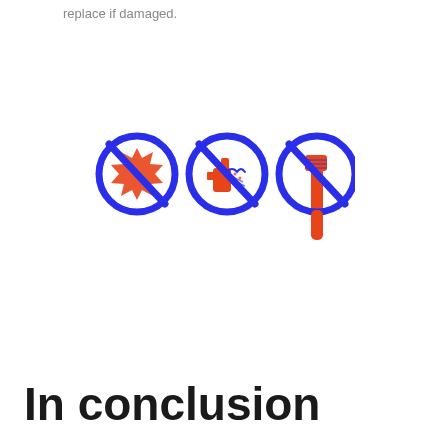replace if damaged.
[Figure (illustration): Three prohibition/warning icons in a row. Each icon is a blue circle with a diagonal red line across it. Left icon: sun/heat symbol (orange spiky sun shape). Middle icon: spray bottle with cloth/cleaning materials. Right icon: wrench/tool with a hand grip (the tool extends below the circle boundary).]
In conclusion